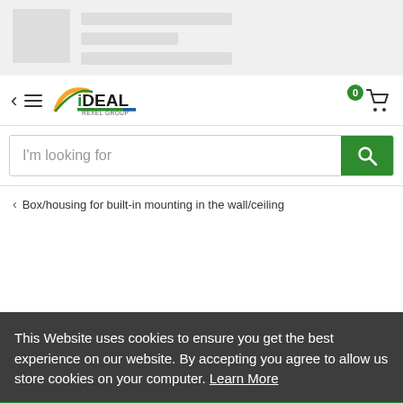[Figure (screenshot): Skeleton loader placeholder with gray boxes representing loading content — a square placeholder and three horizontal bar placeholders]
[Figure (logo): iDEAL Rexel Group logo — stylized text with green/yellow/blue arc design]
I'm looking for
< Box/housing for built-in mounting in the wall/ceiling
This Website uses cookies to ensure you get the best experience on our website. By accepting you agree to allow us store cookies on your computer. Learn More
I accept